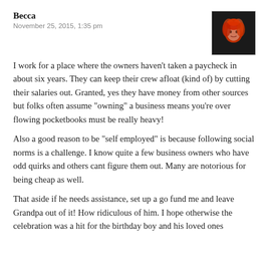Becca
November 25, 2015, 1:35 pm
[Figure (photo): Avatar photo of a woman with red/orange hair on a dark background]
I work for a place where the owners haven’t taken a paycheck in about six years. They can keep their crew afloat (kind of) by cutting their salaries out. Granted, yes they have money from other sources but folks often assume “owning” a business means you’re over flowing pocketbooks must be really heavy!
Also a good reason to be “self employed” is because following social norms is a challenge. I know quite a few business owners who have odd quirks and others cant figure them out. Many are notorious for being cheap as well.
That aside if he needs assistance, set up a go fund me and leave Grandpa out of it! How ridiculous of him. I hope otherwise the celebration was a hit for the birthday boy and his loved ones